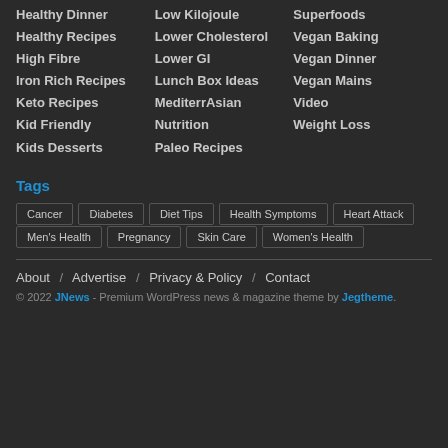Healthy Dinner
Low Kilojoule
Superfoods
Healthy Recipes
Lower Cholesterol
Vegan Baking
High Fibre
Lower GI
Vegan Dinner
Iron Rich Recipes
Lunch Box Ideas
Vegan Mains
Keto Recipes
MediterrAsian
Video
Kid Friendly
Nutrition
Weight Loss
Kids Desserts
Paleo Recipes
Tags
Cancer
Diabetes
Diet Tips
Health Symptoms
Heart Attack
Men's Health
Pregnancy
Skin Care
Women's Health
About / Advertise / Privacy & Policy / Contact
© 2022 JNews - Premium WordPress news & magazine theme by Jegtheme.